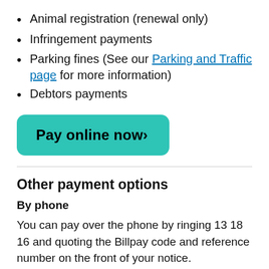Animal registration (renewal only)
Infringement payments
Parking fines (See our Parking and Traffic page for more information)
Debtors payments
[Figure (other): Teal/green rounded button labelled 'Pay online now›']
Other payment options
By phone
You can pay over the phone by ringing 13 18 16 and quoting the Billpay code and reference number on the front of your notice.